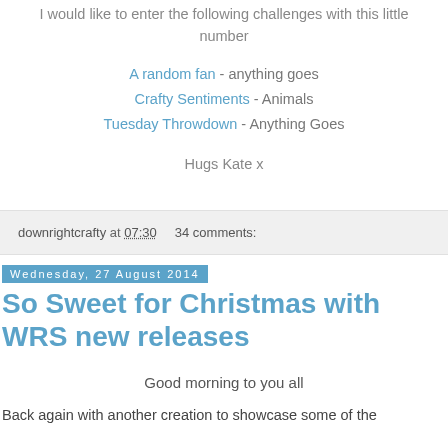I would like to enter the following challenges with this little number
A random fan - anything goes
Crafty Sentiments - Animals
Tuesday Throwdown - Anything Goes
Hugs Kate x
downrightcrafty at 07:30   34 comments:
Wednesday, 27 August 2014
So Sweet for Christmas with WRS new releases
Good morning to you all
Back again with another creation to showcase some of the